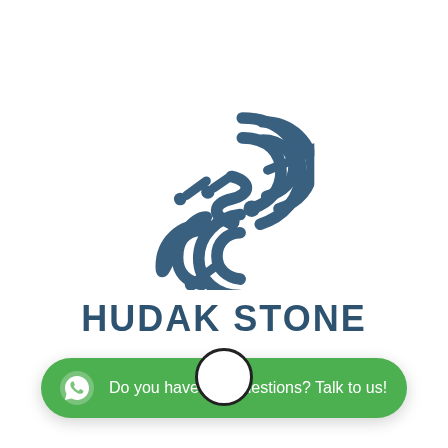[Figure (logo): Hudak Stone company logo: stylized chain link / S-shape with circuit board dot connectors in slate blue, above the brand name HUDAK STONE in bold dark blue capitals]
[Figure (other): Small black circle / button element below the logo]
Do you have any questions? Talk to us!